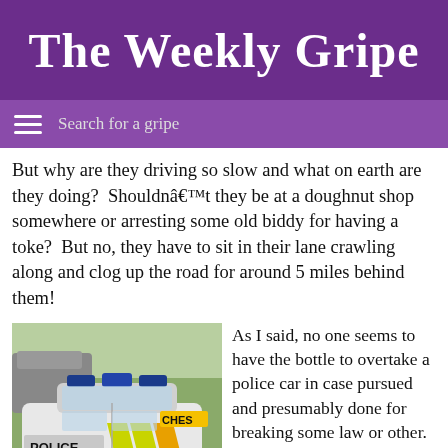The Weekly Gripe
Search for a gripe
But why are they driving so slow and what on earth are they doing?  Shouldnâ€™t they be at a doughnut shop somewhere or arresting some old biddy for having a toke?  But no, they have to sit in their lane crawling along and clog up the road for around 5 miles behind them!
[Figure (photo): A Cheshire police car (marked POLICE with yellow/green chevrons) parked in a car park, with other vehicles visible in the background.]
As I said, no one seems to have the bottle to overtake a police car in case pursued and presumably done for breaking some law or other.
Just because the